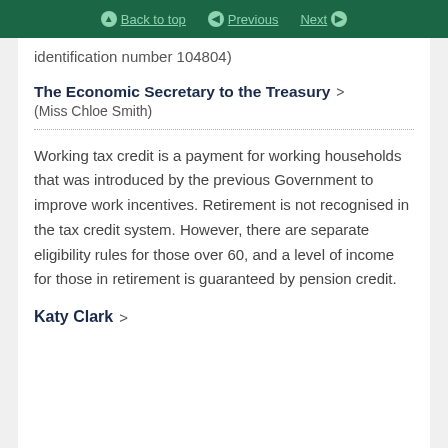Back to top | Previous | Next
identification number 104804)
The Economic Secretary to the Treasury >
(Miss Chloe Smith)
Working tax credit is a payment for working households that was introduced by the previous Government to improve work incentives. Retirement is not recognised in the tax credit system. However, there are separate eligibility rules for those over 60, and a level of income for those in retirement is guaranteed by pension credit.
Katy Clark >